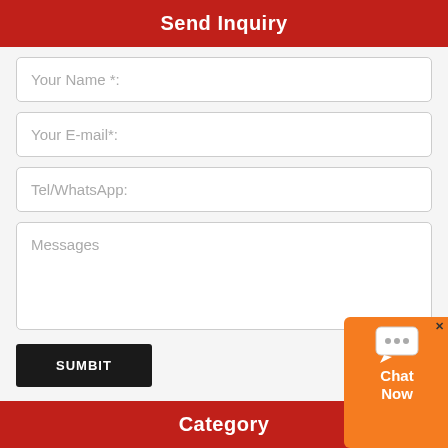Send Inquiry
Your Name *:
Your E-mail*:
Tel/WhatsApp:
Messages
SUMBIT
Category
Bronze Statue
Bronze animal 23